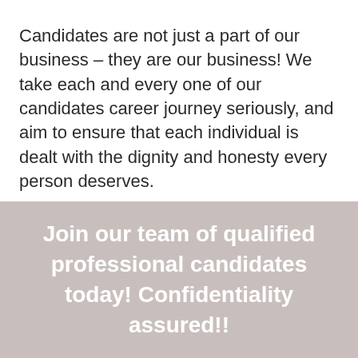Candidates are not just a part of our business – they are our business! We take each and every one of our candidates career journey seriously, and aim to ensure that each individual is dealt with the dignity and honesty every person deserves.
Join our team of qualified professional candidates today! Confidentiality assured!!